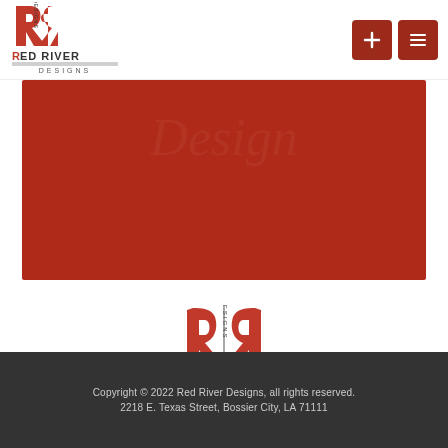[Figure (logo): Red River Designs logo in header - red stylized R with DESIGNS text and RED RIVER DESIGNS wordmark]
[Figure (other): Two dark red navigation buttons with plus and list icons]
[Figure (other): Large red banner/hero area with faint 'Design' italic text watermark]
[Figure (logo): Red River Designs center logo - stylized red R with DESIGNS vertical text]
Copyright © 2022 Red River Designs, all rights reserved.
2218 E. Texas Street,  Bossier City, LA 71111